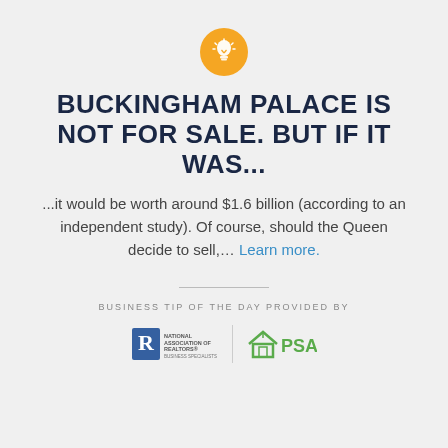[Figure (illustration): Gold/orange circle icon with a white lightbulb symbol inside]
BUCKINGHAM PALACE IS NOT FOR SALE. BUT IF IT WAS...
...it would be worth around $1.6 billion (according to an independent study). Of course, should the Queen decide to sell,... Learn more.
BUSINESS TIP OF THE DAY PROVIDED BY
[Figure (logo): National Association of Realtors logo (R in blue square, small text) followed by a vertical divider and PSA logo (green house icon with PSA text)]